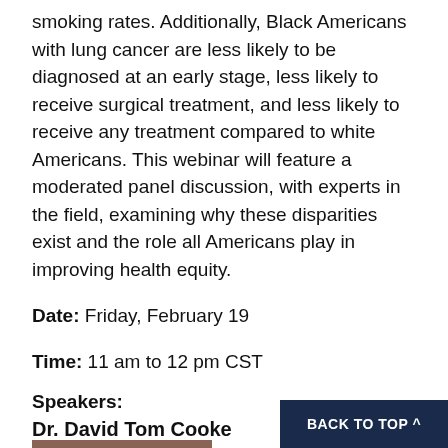smoking rates. Additionally, Black Americans with lung cancer are less likely to be diagnosed at an early stage, less likely to receive surgical treatment, and less likely to receive any treatment compared to white Americans. This webinar will feature a moderated panel discussion, with experts in the field, examining why these disparities exist and the role all Americans play in improving health equity.
Date: Friday, February 19
Time: 11 am to 12 pm CST
Speakers:
Dr. David Tom Cooke
[Figure (photo): Partial photo of Dr. David Tom Cooke]
BACK TO TOP